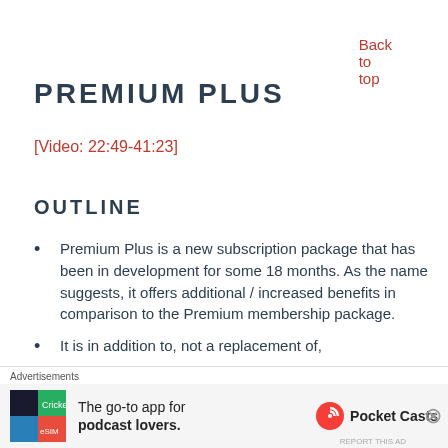Back to top
PREMIUM PLUS
[Video: 22:49-41:23]
OUTLINE
Premium Plus is a new subscription package that has been in development for some 18 months. As the name suggests, it offers additional / increased benefits in comparison to the Premium membership package.
It is in addition to, not a replacement of,
Advertisements
The go-to app for podcast lovers.
Pocket Casts